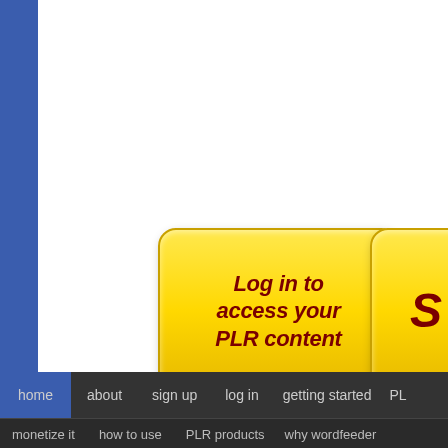[Figure (screenshot): Yellow button with bold italic dark red text reading 'Log in to access your PLR content']
[Figure (screenshot): Partially visible yellow button with bold italic dark red letter 'S' (Sign up button, cropped on right)]
Log in now
Sign up
home  about  sign up  log in  getting started  PL... | monetize it  how to use  PLR products  why wordfeeder...